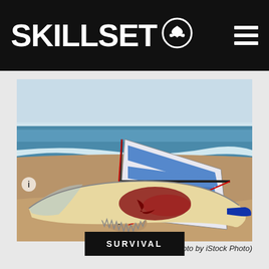SKILLSET
[Figure (photo): A bloody surfboard with shark bite marks lying on a sandy beach, with a windsurfer sail behind it, ocean waves and sky in the background]
(Photo by iStock Photo)
SURVIVAL